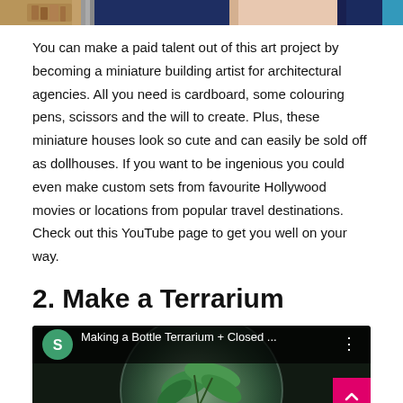[Figure (photo): Top cropped image showing miniature building scene with cardboard models, blue background with person, and light colors]
You can make a paid talent out of this art project by becoming a miniature building artist for architectural agencies. All you need is cardboard, some colouring pens, scissors and the will to create. Plus, these miniature houses look so cute and can easily be sold off as dollhouses. If you want to be ingenious you could even make custom sets from favourite Hollywood movies or locations from popular travel destinations. Check out this YouTube page to get you well on your way.
2. Make a Terrarium
[Figure (screenshot): YouTube video thumbnail showing a bottle terrarium with green plants inside a glass globe, with video title 'Making a Bottle Terrarium + Closed ...' and a green channel icon]